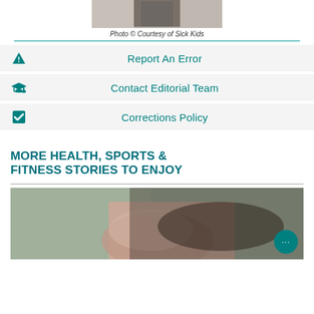[Figure (photo): Top portion of a photograph showing a child near a counter, partially cropped]
Photo © Courtesy of Sick Kids
Report An Error
Contact Editorial Team
Corrections Policy
MORE HEALTH, SPORTS & FITNESS STORIES TO ENJOY
[Figure (photo): Photograph of a sleeping or resting person, close-up of face]